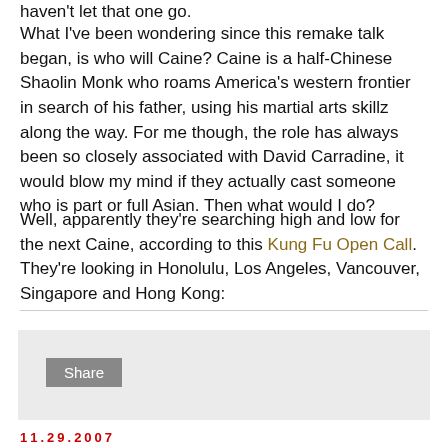haven't let that one go.
What I've been wondering since this remake talk began, is who will Caine? Caine is a half-Chinese Shaolin Monk who roams America's western frontier in search of his father, using his martial arts skillz along the way. For me though, the role has always been so closely associated with David Carradine, it would blow my mind if they actually cast someone who is part or full Asian. Then what would I do?
Well, apparently they're searching high and low for the next Caine, according to this Kung Fu Open Call. They're looking in Honolulu, Los Angeles, Vancouver, Singapore and Hong Kong:
[Figure (other): Share box with a Share button on grey background]
11.29.2007